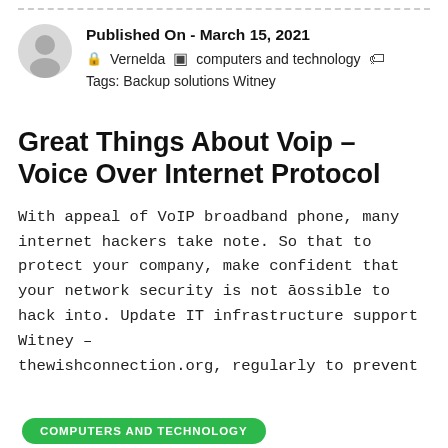Published On - March 15, 2021
Vernelda   computers and technology   Tags: Backup solutions Witney
[Figure (illustration): Gray circular avatar/user profile icon]
[Figure (other): Green rounded badge with text COMPUTERS AND TECHNOLOGY]
Great Things About Voip – Voice Over Internet Protocol
With appeal of VoIP broadband phone, many internet hackers take note. So that to protect your company, make confident that your network security is not ossible t hack into. Update IT infrastructure support Witney – thewishconnection.org, regularly to prevent